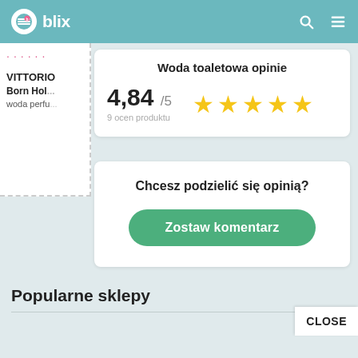[Figure (logo): Blix app logo and header navigation with search and menu icons]
[Figure (photo): Partial product image - VITTORIO Born Hol... woda perfu... with dashed border]
Woda toaletowa opinie
4,84 /5
9 ocen produktu
[Figure (infographic): 4 gold star rating display]
Chcesz podzielić się opinią?
Zostaw komentarz
Popularne sklepy
CLOSE